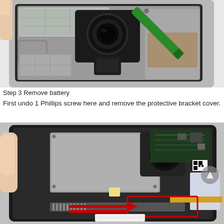[Figure (photo): Close-up photo of a disassembled smartphone showing internal components including camera module, connectors, and shielding, with a green spudger/pry tool inserted at the top right corner.]
Step 3 Remove battery
First undo 1 Phillips screw here and remove the protective bracket cover.
[Figure (photo): Close-up photo of a disassembled smartphone motherboard showing internal components including camera module, circuit boards, connectors, and components. A red arrow and red rectangle highlight the battery connector area at the bottom of the board.]